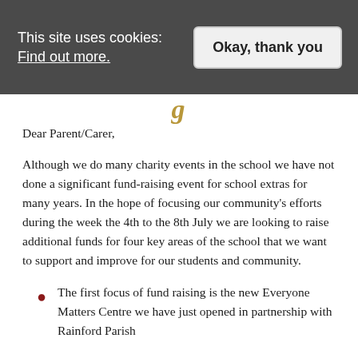This site uses cookies: Find out more.   Okay, thank you
Dear Parent/Carer,
Although we do many charity events in the school we have not done a significant fund-raising event for school extras for many years. In the hope of focusing our community's efforts during the week the 4th to the 8th July we are looking to raise additional funds for four key areas of the school that we want to support and improve for our students and community.
The first focus of fund raising is the new Everyone Matters Centre we have just opened in partnership with Rainford Parish